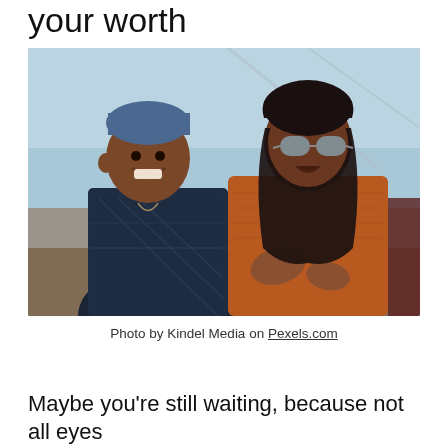your worth
[Figure (photo): Two people sitting outdoors. On the left, a man wearing a blue beanie hat and a dark plaid jacket, smiling. On the right, a woman with long dark hair, wearing sunglasses and a rust/orange chunky knit sweater, gesturing with her hands and speaking. A third person is partially visible on the far right.]
Photo by Kindel Media on Pexels.com
Maybe you're still waiting, because not all eyes